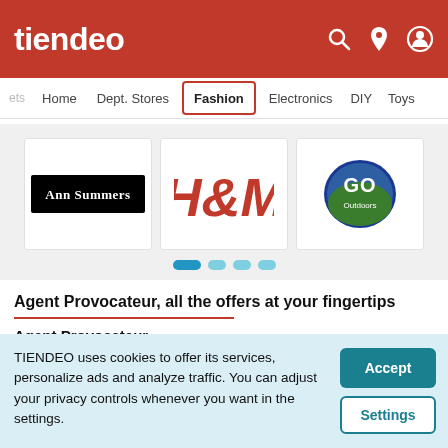tiendeo
[Figure (logo): Tiendeo website navigation bar with Home, Dept. Stores, Fashion (active), Electronics, DIY, Toys tabs]
[Figure (logo): Ann Summers logo - white text on black rectangle]
[Figure (logo): H&M logo in red script lettering]
[Figure (logo): GO Outdoors logo - oval badge with blue and green]
Agent Provocateur, all the offers at your fingertips
Agent Provocateur
TIENDEO uses cookies to offer its services, personalize ads and analyze traffic. You can adjust your privacy controls whenever you want in the settings.